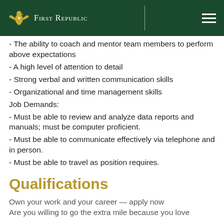First Republic
- The ability to coach and mentor team members to perform above expectations
- A high level of attention to detail
- Strong verbal and written communication skills
- Organizational and time management skills
Job Demands:
- Must be able to review and analyze data reports and manuals; must be computer proficient.
- Must be able to communicate effectively via telephone and in person.
- Must be able to travel as position requires.
Qualifications
Own your work and your career — apply now Are you willing to go the extra mile because you love